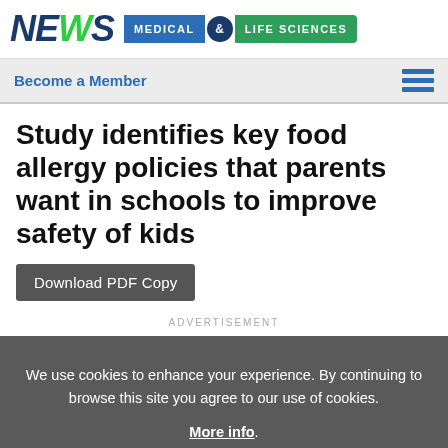NEWS MEDICAL & LIFE SCIENCES
Become a Member
Study identifies key food allergy policies that parents want in schools to improve safety of kids
Download PDF Copy
ADVERTISEMENT
We use cookies to enhance your experience. By continuing to browse this site you agree to our use of cookies. More info.
Accept
Cookie Settings